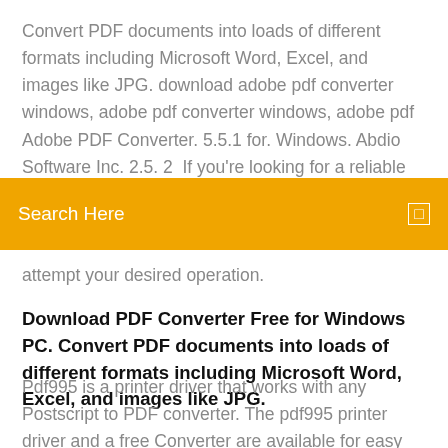Convert PDF documents into loads of different formats including Microsoft Word, Excel, and images like JPG. download adobe pdf converter windows, adobe pdf converter windows, adobe pdf Adobe PDF Converter. 5.5.1 for. Windows. Abdio Software Inc. 2.5. 2  If you're looking for a reliable PPT to PDF converter software for Windows, this article will be just opt for
[Figure (other): Orange search bar overlay with text 'Search Here' and a small white square icon on the right]
attempt your desired operation.
Download PDF Converter Free for Windows PC. Convert PDF documents into loads of different formats including Microsoft Word, Excel, and images like JPG.
Pdf995 is a printer driver that works with any Postscript to PDF converter. The pdf995 printer driver and a free Converter are available for easy download. We support Windows 10; Windows 8.1; Windows 7; Vista; XP; Citrix/Terminal Server; display a